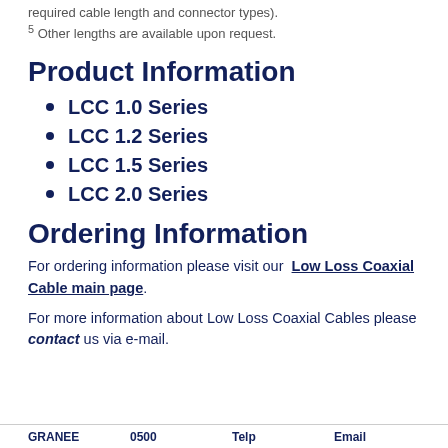required cable length and connector types).
5 Other lengths are available upon request.
Product Information
LCC 1.0 Series
LCC 1.2 Series
LCC 1.5 Series
LCC 2.0 Series
Ordering Information
For ordering information please visit our Low Loss Coaxial Cable main page.
For more information about Low Loss Coaxial Cables please contact us via e-mail.
GRANEE   0500   Telp   Email